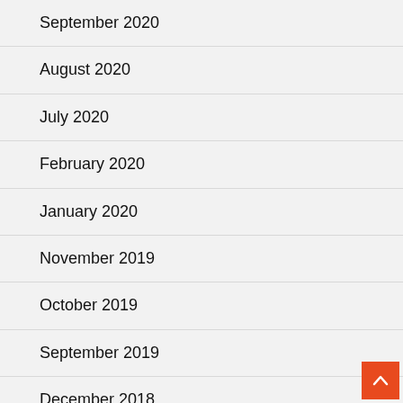September 2020
August 2020
July 2020
February 2020
January 2020
November 2019
October 2019
September 2019
December 2018
October 2018